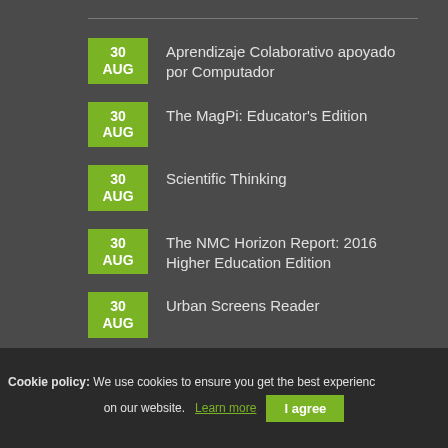30 AUG — Aprendizaje Colaborativo apoyado por Computador
30 AUG — The MagPi: Educator's Edition
30 AUG — Scientific Thinking
30 AUG — The NMC Horizon Report: 2016 Higher Education Edition
30 AUG — Urban Screens Reader
29 AUG — Introduction to Open Access
Subscribe to our
Cookie policy: We use cookies to ensure you get the best experience on our website. Learn more  I agree